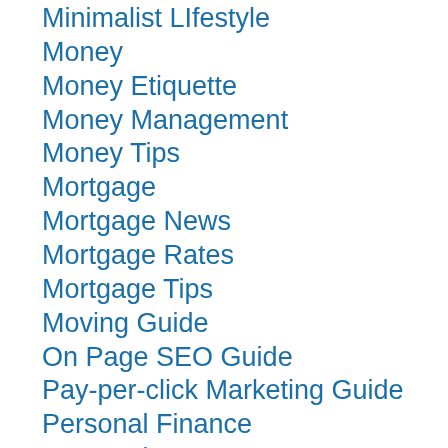Minimalist LIfestyle
Money
Money Etiquette
Money Management
Money Tips
Mortgage
Mortgage News
Mortgage Rates
Mortgage Tips
Moving Guide
On Page SEO Guide
Pay-per-click Marketing Guide
Personal Finance
Personal Loans
Real Estate
Refinance
Retirement
Retirement Tips